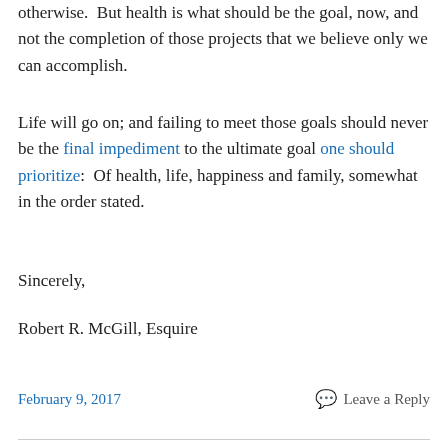otherwise.  But health is what should be the goal, now, and not the completion of those projects that we believe only we can accomplish.
Life will go on; and failing to meet those goals should never be the final impediment to the ultimate goal one should prioritize:  Of health, life, happiness and family, somewhat in the order stated.
Sincerely,
Robert R. McGill, Esquire
February 9, 2017   Leave a Reply